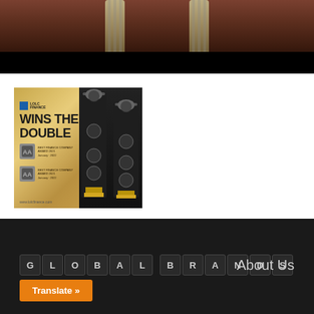[Figure (photo): Top banner image showing a dark brown/bronze background with cascading paper currency bills forming an arch shape, with a black bar at the bottom of the image]
[Figure (photo): Award announcement image with golden/tan background showing 'LOLC Finance Wins The Double' text with two tall black trophy awards, badge icons for awards received, and website url www.lolcfinance.com]
[Figure (logo): Global Brands logo rendered as individual dark tiles with letters G-L-O-B-A-L B-R-A-N-D-S, followed by 'About Us' text on dark footer, and an orange 'Translate »' button below]